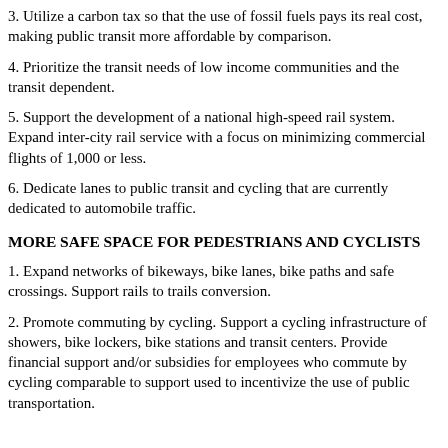3. Utilize a carbon tax so that the use of fossil fuels pays its real cost, making public transit more affordable by comparison.
4. Prioritize the transit needs of low income communities and the transit dependent.
5. Support the development of a national high-speed rail system. Expand inter-city rail service with a focus on minimizing commercial flights of 1,000 or less.
6. Dedicate lanes to public transit and cycling that are currently dedicated to automobile traffic.
MORE SAFE SPACE FOR PEDESTRIANS AND CYCLISTS
1. Expand networks of bikeways, bike lanes, bike paths and safe crossings. Support rails to trails conversion.
2. Promote commuting by cycling. Support a cycling infrastructure of showers, bike lockers, bike stations and transit centers. Provide financial support and/or subsidies for employees who commute by cycling comparable to support used to incentivize the use of public transportation.